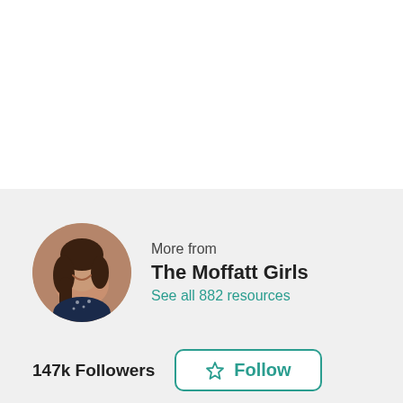[Figure (photo): Circular profile photo of a woman with long brown hair, smiling, wearing a navy patterned scarf/top]
More from
The Moffatt Girls
See all 882 resources
147k Followers
Follow